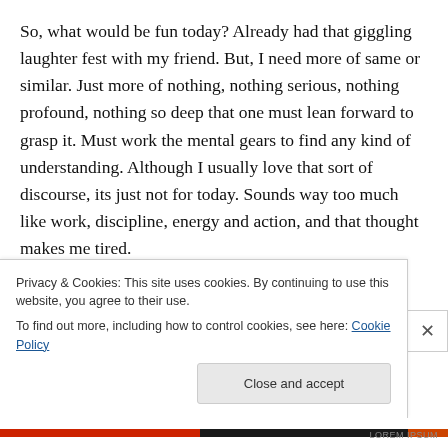So, what would be fun today? Already had that giggling laughter fest with my friend. But, I need more of same or similar. Just more of nothing, nothing serious, nothing profound, nothing so deep that one must lean forward to grasp it. Must work the mental gears to find any kind of understanding. Although I usually love that sort of discourse, its just not for today. Sounds way too much like work, discipline, energy and action, and that thought makes me tired.
I could do nothing, leaning back, counting its white...
Privacy & Cookies: This site uses cookies. By continuing to use this website, you agree to their use.
To find out more, including how to control cookies, see here: Cookie Policy